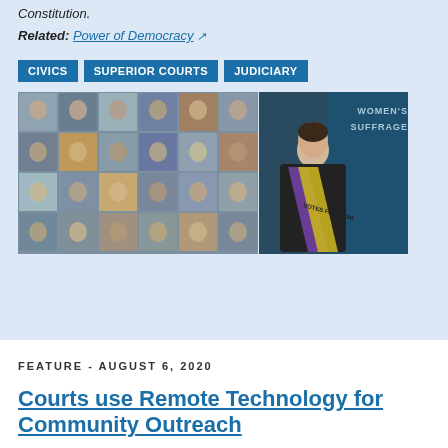Constitution.
Related: Power of Democracy ↗
CIVICS
SUPERIOR COURTS
JUDICIARY
[Figure (photo): A collage of many small portrait photos on the left, and on the right a judge in black robes wearing a purple and yellow 'Votes for Women' sash, standing in front of a blue background with 'Women's Suffrage' text.]
FEATURE - AUGUST 6, 2020
Courts use Remote Technology for Community Outreach